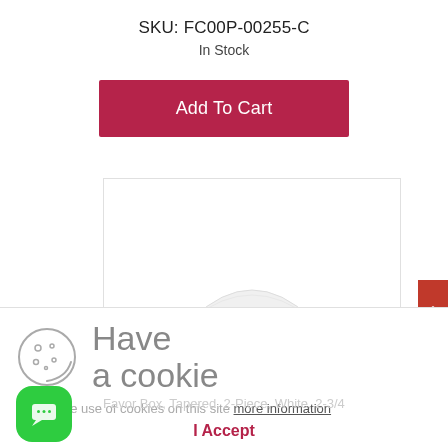SKU: FC00P-00255-C
In Stock
Add To Cart
[Figure (photo): White tapered favor box, partially visible in product image area]
[Figure (illustration): Cookie consent overlay with cookie icon and text: Have a cookie. Accept the use of cookies on this site more information. I Accept button.]
Favor Box, Tapered, 2-Piece, White, 2-3/4